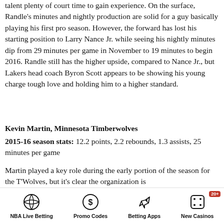talent plenty of court time to gain experience. On the surface, Randle's minutes and nightly production are solid for a guy basically playing his first pro season. However, the forward has lost his starting position to Larry Nance Jr. while seeing his nightly minutes dip from 29 minutes per game in November to 19 minutes to begin 2016. Randle still has the higher upside, compared to Nance Jr., but Lakers head coach Byron Scott appears to be showing his young charge tough love and holding him to a higher standard.
Kevin Martin, Minnesota Timberwolves
2015-16 season stats: 12.2 points, 2.2 rebounds, 1.3 assists, 25 minutes per game
Martin played a key role during the early portion of the season for the T'Wolves, but it's clear the organization is
NBA Live Betting | Promo Codes | Betting Apps | New Casinos